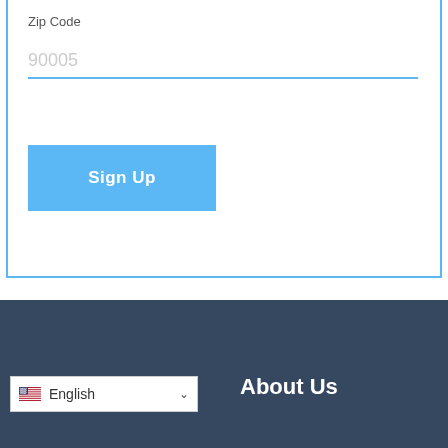Zip Code
90005
Sign Up
English
About Us